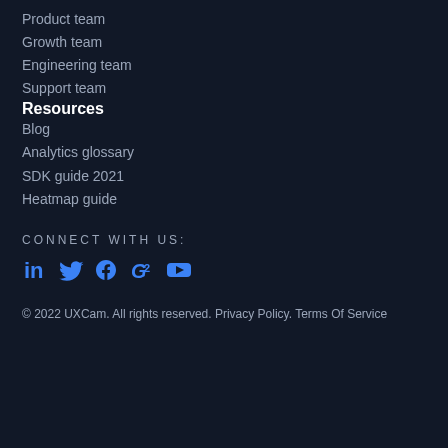Product team
Growth team
Engineering team
Support team
Resources
Blog
Analytics glossary
SDK guide 2021
Heatmap guide
CONNECT WITH US:
[Figure (infographic): Social media icons: LinkedIn, Twitter, Facebook, G2, YouTube]
© 2022 UXCam. All rights reserved. Privacy Policy. Terms Of Service